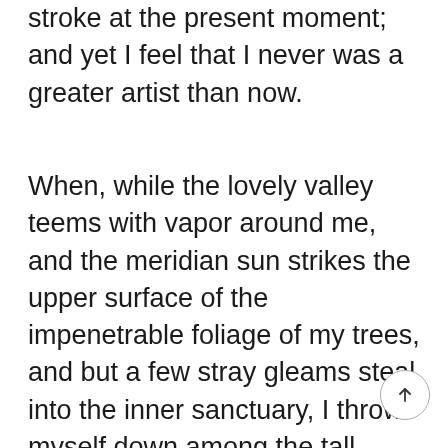stroke at the present moment; and yet I feel that I never was a greater artist than now.
When, while the lovely valley teems with vapor around me, and the meridian sun strikes the upper surface of the impenetrable foliage of my trees, and but a few stray gleams steal into the inner sanctuary, I throw myself down among the tall grass by the trickling stream; and, as I lie close to the earth, a thousand unknown plants are noticed by me: when I hear the buzz of the little world among the stalks, and grow familiar with the countless indescribable